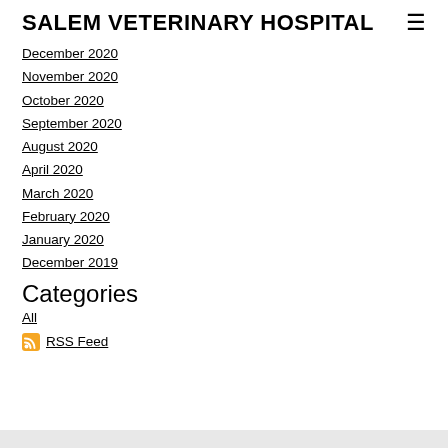SALEM VETERINARY HOSPITAL
December 2020
November 2020
October 2020
September 2020
August 2020
April 2020
March 2020
February 2020
January 2020
December 2019
Categories
All
RSS Feed